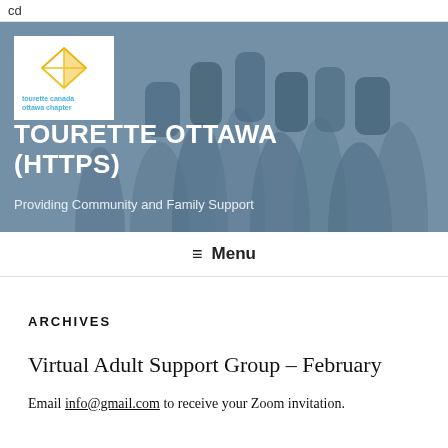cd
[Figure (screenshot): Hero banner image showing silhouetted hands raised together against a blue-grey background, with Tourette Canada Ottawa Chapter logo in top-left corner]
TOURETTE OTTAWA (HTTPS)
Providing Community and Family Support
≡ Menu
ARCHIVES
Virtual Adult Support Group – February
Email info@gmail.com to receive your Zoom invitation.